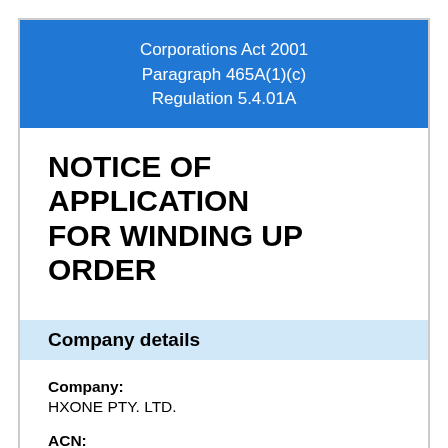Corporations Act 2001
Paragraph 465A(1)(c)
Regulation 5.4.01A
NOTICE OF APPLICATION FOR WINDING UP ORDER
Company details
Company:
HXONE PTY. LTD.
ACN:
606 953 011